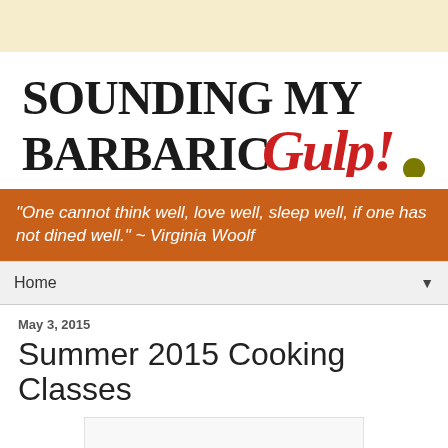[Figure (logo): Sounding My Barbaric Gulp! blog logo with black serif text and red italic stylized text, with an olive green dot]
"One cannot think well, love well, sleep well, if one has not dined well." ~ Virginia Woolf
Home
May 3, 2015
Summer 2015 Cooking Classes